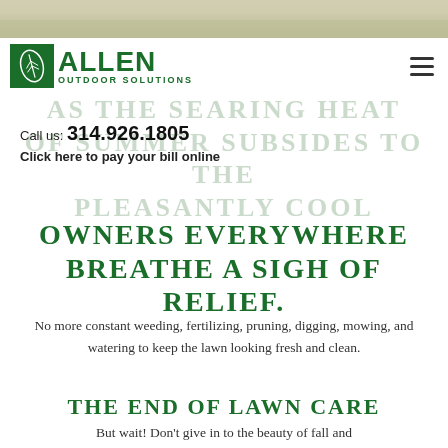[Figure (photo): Top partial image of what appears to be a lawn or outdoor scene, cropped at top of page]
ALLEN OUTDOOR SOLUTIONS | Call us: 314.926.1805 | Click here to pay your bill online
AS THE SEARING HEAT OF SUMMER SUBSIDES TO THE PLEASANTLY COOL EVENINGS OF FALL, HOME
OWNERS EVERYWHERE BREATHE A SIGH OF RELIEF.
No more constant weeding, fertilizing, pruning, digging, mowing, and watering to keep the lawn looking fresh and clean.
THE END OF LAWN CARE
But wait! Don't give in to the beauty of fall and